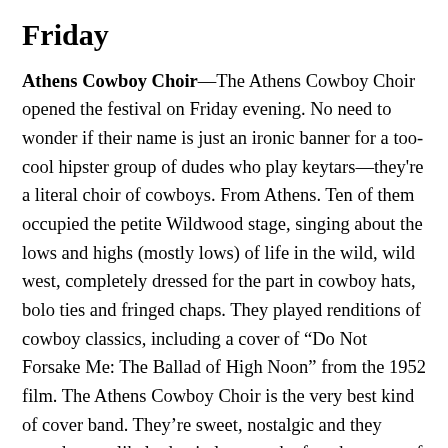Friday
Athens Cowboy Choir—The Athens Cowboy Choir opened the festival on Friday evening. No need to wonder if their name is just an ironic banner for a too-cool hipster group of dudes who play keytars—they're a literal choir of cowboys. From Athens. Ten of them occupied the petite Wildwood stage, singing about the lows and highs (mostly lows) of life in the wild, wild west, completely dressed for the part in cowboy hats, bolo ties and fringed chaps. They played renditions of cowboy classics, including a cover of “Do Not Forsake Me: The Ballad of High Noon” from the 1952 film. The Athens Cowboy Choir is the very best kind of cover band. They’re sweet, nostalgic and they sound great, likely due in large to the fact that most of them are indie music veterans. Among its talented members are JoJo Glidewell (Of Montreal, Modern Skirts), James Huggins III (Of Montreal,